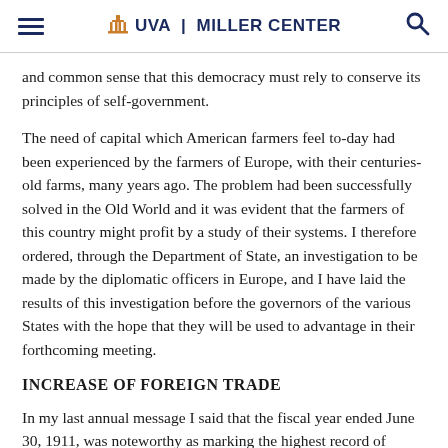≡  🏛 UVA | MILLER CENTER  🔍
and common sense that this democracy must rely to conserve its principles of self-government.
The need of capital which American farmers feel to-day had been experienced by the farmers of Europe, with their centuries-old farms, many years ago. The problem had been successfully solved in the Old World and it was evident that the farmers of this country might profit by a study of their systems. I therefore ordered, through the Department of State, an investigation to be made by the diplomatic officers in Europe, and I have laid the results of this investigation before the governors of the various States with the hope that they will be used to advantage in their forthcoming meeting.
INCREASE OF FOREIGN TRADE
In my last annual message I said that the fiscal year ended June 30, 1911, was noteworthy as marking the highest record of exports of American products to foreign countries. The